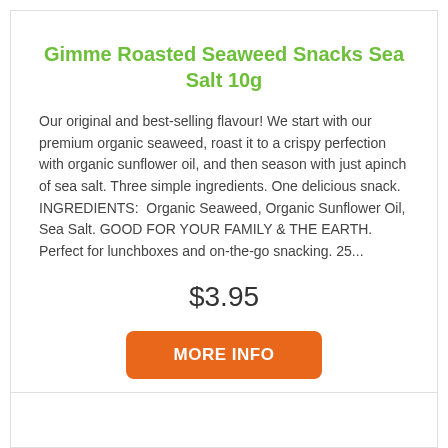Gimme Roasted Seaweed Snacks Sea Salt 10g
Our original and best-selling flavour! We start with our premium organic seaweed, roast it to a crispy perfection with organic sunflower oil, and then season with just apinch of sea salt. Three simple ingredients. One delicious snack. INGREDIENTS:  Organic Seaweed, Organic Sunflower Oil, Sea Salt. GOOD FOR YOUR FAMILY & THE EARTH. Perfect for lunchboxes and on-the-go snacking. 25...
$3.95
MORE INFO